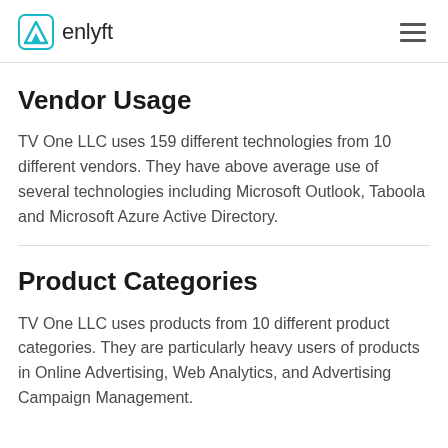enlyft
Vendor Usage
TV One LLC uses 159 different technologies from 10 different vendors. They have above average use of several technologies including Microsoft Outlook, Taboola and Microsoft Azure Active Directory.
Product Categories
TV One LLC uses products from 10 different product categories. They are particularly heavy users of products in Online Advertising, Web Analytics, and Advertising Campaign Management.